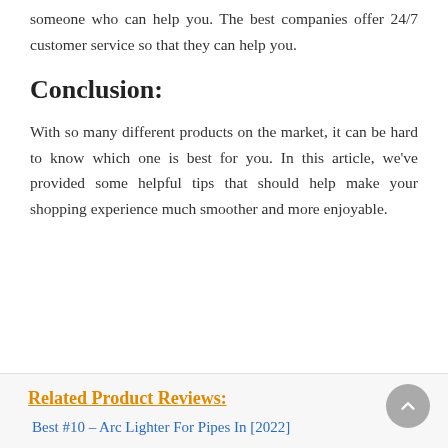someone who can help you. The best companies offer 24/7 customer service so that they can help you.
Conclusion:
With so many different products on the market, it can be hard to know which one is best for you. In this article, we've provided some helpful tips that should help make your shopping experience much smoother and more enjoyable.
Related Product Reviews:
Best #10 – Arc Lighter For Pipes In [2022]